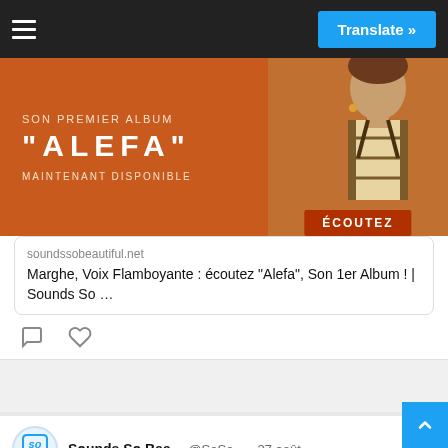☰   Translate »
[Figure (photo): Orange promotional banner for album 'Alefa' by Marghe. Text reads: SON PREMIER ALBUM / "ALEFA" / MAINTENANT DISPONIBLE. Person visible on right side in traditional clothing. Button at bottom: ÉCOUTEZ]
soundssobeautiful.net
Marghe, Voix Flamboyante : écoutez "Alefa", Son 1er Album ! | Sounds So …
[Figure (screenshot): Tweet from Sounds So Bea... @SoSo... · 27 août. Text: Jacob Banks sort son album Lies About The War. Link: soundssobeautiful.net/2022/08/27/jac...]
[Figure (photo): Bottom portion of a photo showing a decorative face/mask with large googly eyes and a grinning expression]